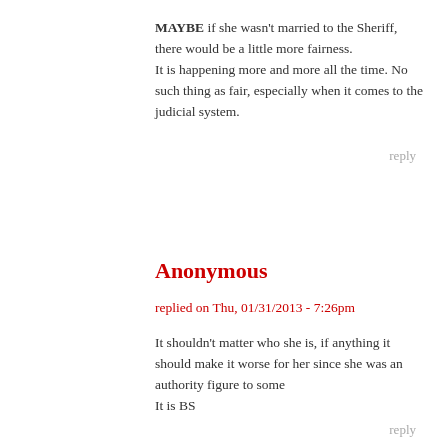MAYBE if she wasn't married to the Sheriff, there would be a little more fairness.
It is happening more and more all the time. No such thing as fair, especially when it comes to the judicial system.
reply
Anonymous
replied on Thu, 01/31/2013 - 7:26pm
It shouldn't matter who she is, if anything it should make it worse for her since she was an authority figure to some
It is BS
reply